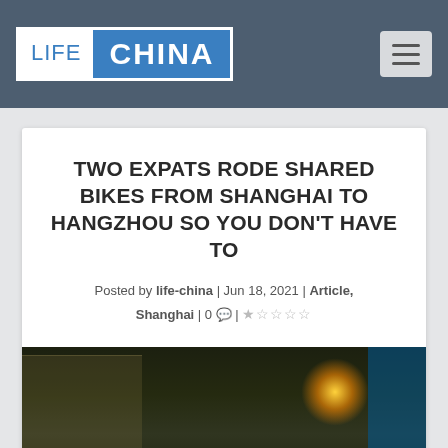LIFE CHINA
TWO EXPATS RODE SHARED BIKES FROM SHANGHAI TO HANGZHOU SO YOU DON'T HAVE TO
Posted by life-china | Jun 18, 2021 | Article, Shanghai | 0 💬 | ☆☆☆☆☆
[Figure (photo): Night-time photo of shared bicycles (blue/teal colored) parked outdoors with street lights in the background]